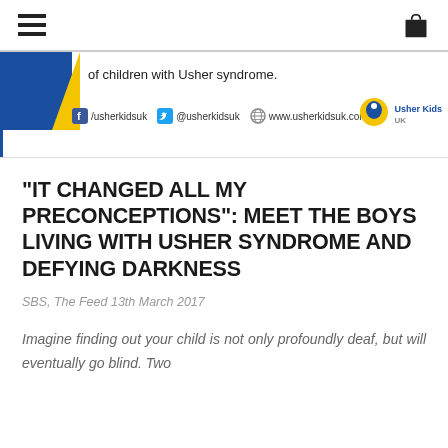Navigation header with hamburger menu and shopping bag icon
[Figure (logo): Usher Kids UK banner with blue and yellow chevron, social media links (Facebook /usherkidsuk, Twitter @usherkidsuk, website www.usherkidsuk.com) and Usher Kids UK logo. Text: 'of children with Usher syndrome.']
"IT CHANGED ALL MY PRECONCEPTIONS": MEET THE BOYS LIVING WITH USHER SYNDROME AND DEFYING DARKNESS
SBS, The Feed 13th March 2017
Imagine finding out your child is not only profoundly deaf, but will eventually go blind. Two